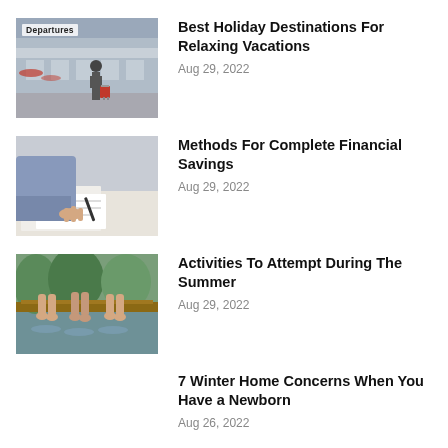[Figure (photo): Person with luggage at airport departures area]
Best Holiday Destinations For Relaxing Vacations
Aug 29, 2022
[Figure (photo): Person working with financial documents and calculator]
Methods For Complete Financial Savings
Aug 29, 2022
[Figure (photo): Feet dangling over water during summer]
Activities To Attempt During The Summer
Aug 29, 2022
7 Winter Home Concerns When You Have a Newborn
Aug 26, 2022